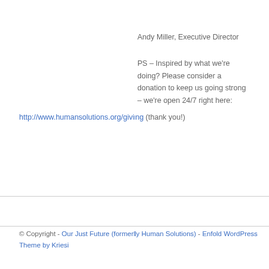Andy Miller, Executive Director
PS – Inspired by what we're doing? Please consider a donation to keep us going strong – we're open 24/7 right here: http://www.humansolutions.org/giving (thank you!)
© Copyright - Our Just Future (formerly Human Solutions) - Enfold WordPress Theme by Kriesi